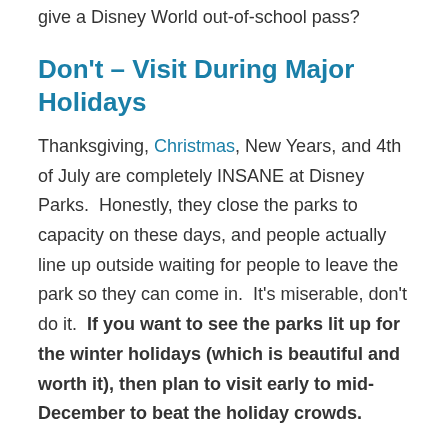give a Disney World out-of-school pass?
Don't – Visit During Major Holidays
Thanksgiving, Christmas, New Years, and 4th of July are completely INSANE at Disney Parks.  Honestly, they close the parks to capacity on these days, and people actually line up outside waiting for people to leave the park so they can come in.  It's miserable, don't do it.  If you want to see the parks lit up for the winter holidays (which is beautiful and worth it), then plan to visit early to mid-December to beat the holiday crowds.
If you do plan on visiting during Christmas don't